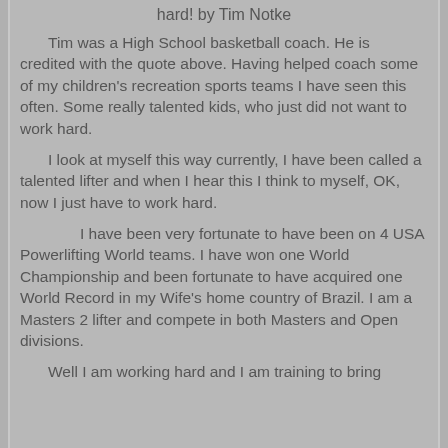hard! by Tim Notke
Tim was a High School basketball coach. He is credited with the quote above. Having helped coach some of my children's recreation sports teams I have seen this often. Some really talented kids, who just did not want to work hard.
I look at myself this way currently, I have been called a talented lifter and when I hear this I think to myself, OK, now I just have to work hard.
I have been very fortunate to have been on 4 USA Powerlifting World teams. I have won one World Championship and been fortunate to have acquired one World Record in my Wife's home country of Brazil. I am a Masters 2 lifter and compete in both Masters and Open divisions.
Well I am working hard and I am training to bring